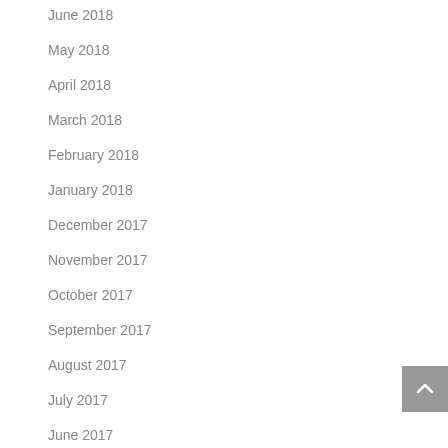June 2018
May 2018
April 2018
March 2018
February 2018
January 2018
December 2017
November 2017
October 2017
September 2017
August 2017
July 2017
June 2017
May 2017
May 2016